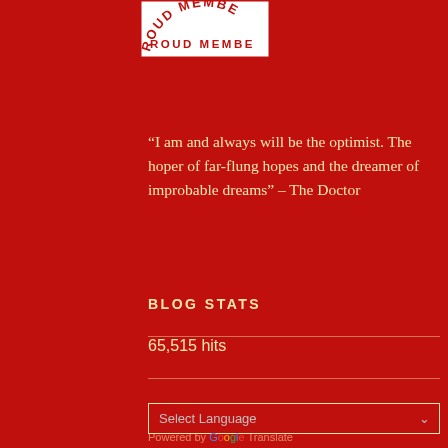[Figure (logo): Partial circular badge/logo showing text 'ROUD MEMBE' in arc on white background with red border, cropped at top of page]
“I am and always will be the optimist. The hoper of far-flung hopes and the dreamer of improbable dreams” – The Doctor
BLOG STATS
65,515 hits
Select Language
Powered by Google Translate